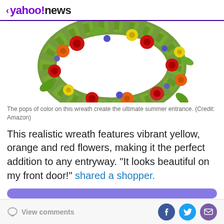< yahoo!news
[Figure (photo): A colorful floral wreath with red, orange, yellow, and purple flowers with green leaves arranged in a circular shape on a white background.]
The pops of color on this wreath create the ultimate summer entrance. (Credit: Amazon)
This realistic wreath features vibrant yellow, orange and red flowers, making it the perfect addition to any entryway. "It looks beautiful on my front door!" shared a shopper.
View comments